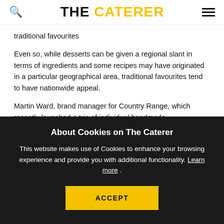THE CATERER
traditional favourites
Even so, while desserts can be given a regional slant in terms of ingredients and some recipes may have originated in a particular geographical area, traditional favourites tend to have nationwide appeal.
Martin Ward, brand manager for Country Range, which recently launched a trio of individual handmade
About Cookies on The Caterer
This website makes use of Cookies to enhance your browsing experience and provide you with additional functionality. Learn more .
ACCEPT